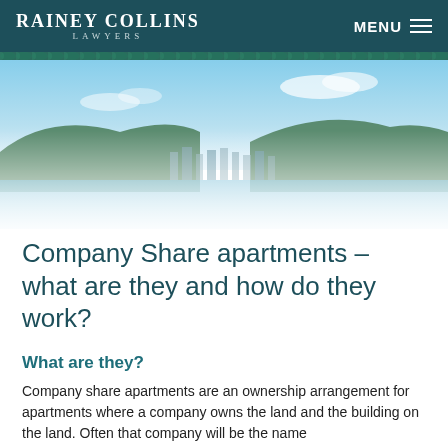RAINEY COLLINS LAWYERS | MENU
[Figure (photo): Aerial/waterfront view of Wellington city with blue sky, green hills, and harbour in the foreground. Image fades to white at the bottom.]
Company Share apartments – what are they and how do they work?
What are they?
Company share apartments are an ownership arrangement for apartments where a company owns the land and the building on the land. Often that company will be the name